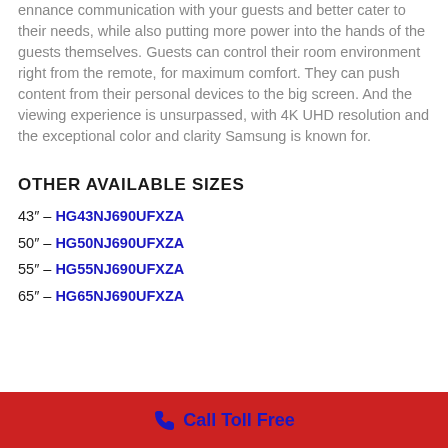enhance communication with your guests and better cater to their needs, while also putting more power into the hands of the guests themselves. Guests can control their room environment right from the remote, for maximum comfort. They can push content from their personal devices to the big screen. And the viewing experience is unsurpassed, with 4K UHD resolution and the exceptional color and clarity Samsung is known for.
OTHER AVAILABLE SIZES
43″ – HG43NJ690UFXZA
50″ – HG50NJ690UFXZA
55″ – HG55NJ690UFXZA
65″ – HG65NJ690UFXZA
Call Toll Free